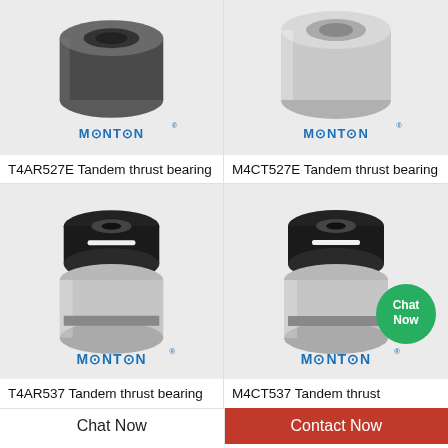[Figure (photo): T4AR527E Tandem thrust bearing product photo with MONTON logo, silver/dark cylindrical bearing top view]
T4AR527E Tandem thrust bearing
[Figure (photo): M4CT527E Tandem thrust bearing product photo with MONTON logo, silver cylindrical bearing top view]
M4CT527E Tandem thrust bearing
[Figure (photo): T4AR537 Tandem thrust bearing product photo with MONTON logo, tall silver/black cylindrical bearing]
T4AR537 Tandem thrust bearing
[Figure (photo): M4CT537 Tandem thrust bearing product photo with MONTON logo and Chat Now green button, tall silver/black cylindrical bearing]
M4CT537 Tandem thrust
Chat Now
Contact Now